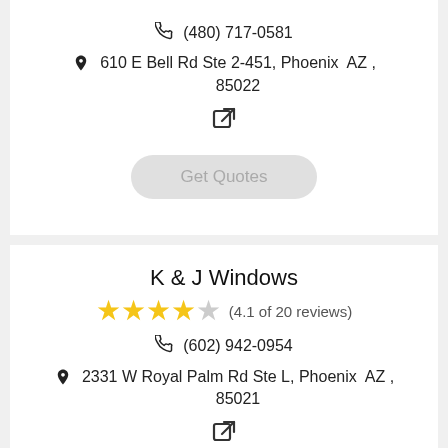(480) 717-0581
610 E Bell Rd Ste 2-451, Phoenix AZ , 85022
[Figure (other): External link icon]
Get Quotes
K & J Windows
4.1 of 20 reviews
(602) 942-0954
2331 W Royal Palm Rd Ste L, Phoenix AZ , 85021
[Figure (other): External link icon]